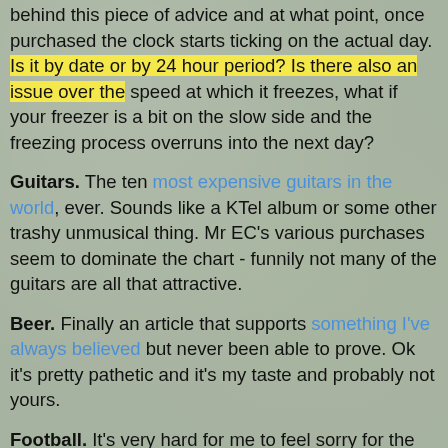behind this piece of advice and at what point, once purchased the clock starts ticking on the actual day. Is it by date or by 24 hour period? Is there also an issue over the speed at which it freezes, what if your freezer is a bit on the slow side and the freezing process overruns into the next day?
Guitars. The ten most expensive guitars in the world, ever. Sounds like a KTel album or some other trashy unmusical thing. Mr EC's various purchases seem to dominate the chart - funnily not many of the guitars are all that attractive.
Beer. Finally an article that supports something I've always believed but never been able to prove. Ok it's pretty pathetic and it's my taste and probably not yours.
Football. It's very hard for me to feel sorry for the current plight of Glasgow Rangers. Over the years the club, to most neutral Scottish supporters, has defined itself with an odd mixture of arrogance and ignorance. Those two rather unpleasant traits have been displayed time and time again and the noses of most provincial clubs and their support